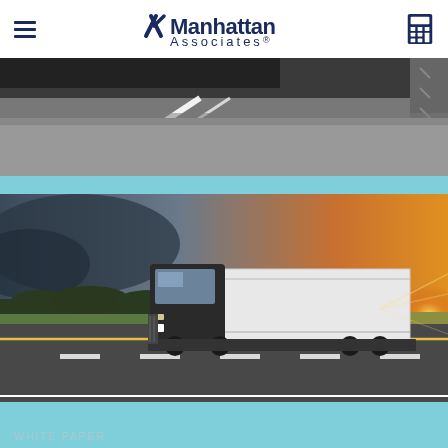Manhattan Associates
[Figure (photo): Grayscale overhead photo of a curved road with white lane markings]
[Figure (photo): Color photo of a white semi-truck driving on a highway at sunset with green fields on both sides]
WHITE PAPER